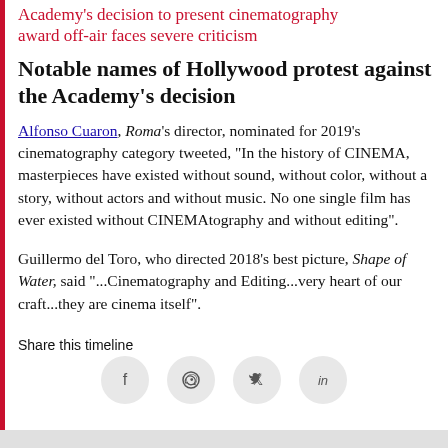Academy's decision to present cinematography award off-air faces severe criticism
Notable names of Hollywood protest against the Academy's decision
Alfonso Cuaron, Roma's director, nominated for 2019's cinematography category tweeted, "In the history of CINEMA, masterpieces have existed without sound, without color, without a story, without actors and without music. No one single film has ever existed without CINEMAtography and without editing".
Guillermo del Toro, who directed 2018's best picture, Shape of Water, said "...Cinematography and Editing...very heart of our craft...they are cinema itself".
Share this timeline